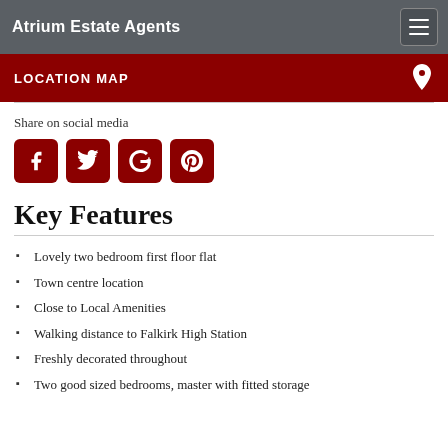Atrium Estate Agents
LOCATION MAP
Share on social media
[Figure (other): Social media icons: Facebook, Twitter, Google+, Pinterest — dark red rounded square buttons]
Key Features
Lovely two bedroom first floor flat
Town centre location
Close to Local Amenities
Walking distance to Falkirk High Station
Freshly decorated throughout
Two good sized bedrooms, master with fitted storage